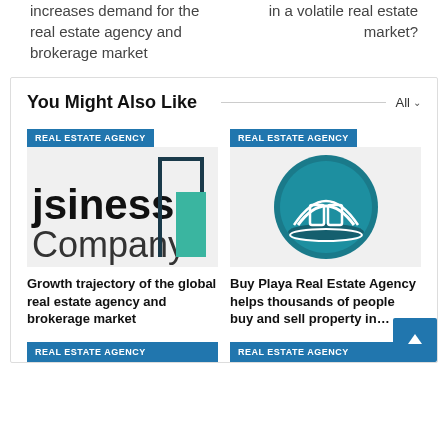increases demand for the real estate agency and brokerage market
in a volatile real estate market?
You Might Also Like
[Figure (logo): Business Company logo with teal building graphic]
Growth trajectory of the global real estate agency and brokerage market
[Figure (logo): Buy Playa Real Estate Agency circular teal logo]
Buy Playa Real Estate Agency helps thousands of people buy and sell property in…
REAL ESTATE AGENCY
REAL ESTATE AGENCY